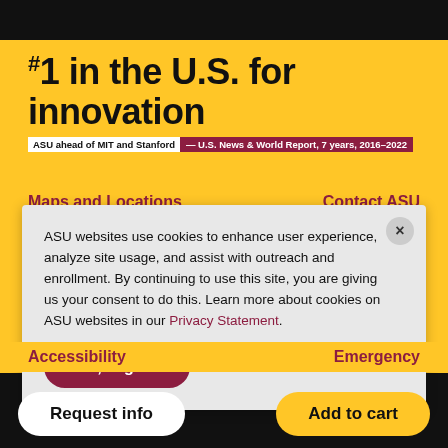#1 in the U.S. for innovation
ASU ahead of MIT and Stanford — U.S. News & World Report, 7 years, 2016–2022
Maps and Locations
Contact ASU
ASU websites use cookies to enhance user experience, analyze site usage, and assist with outreach and enrollment. By continuing to use this site, you are giving us your consent to do this. Learn more about cookies on ASU websites in our Privacy Statement.
Ok, I agree
Accessibility
Emergency
Request info
Add to cart